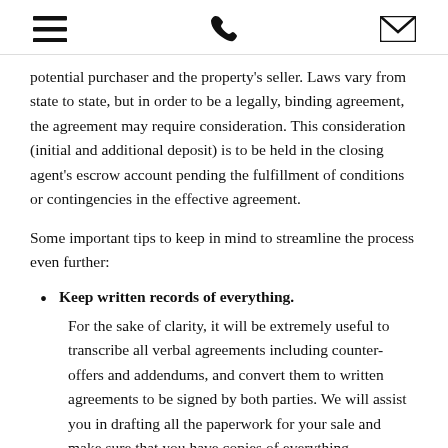[hamburger menu icon] [phone icon] [email icon]
potential purchaser and the property’s seller. Laws vary from state to state, but in order to be a legally, binding agreement, the agreement may require consideration. This consideration (initial and additional deposit) is to be held in the closing agent’s escrow account pending the fulfillment of conditions or contingencies in the effective agreement.
Some important tips to keep in mind to streamline the process even further:
Keep written records of everything. For the sake of clarity, it will be extremely useful to transcribe all verbal agreements including counter-offers and addendums, and convert them to written agreements to be signed by both parties. We will assist you in drafting all the paperwork for your sale and make sure that you have copies of everything.
Stick to the schedule.